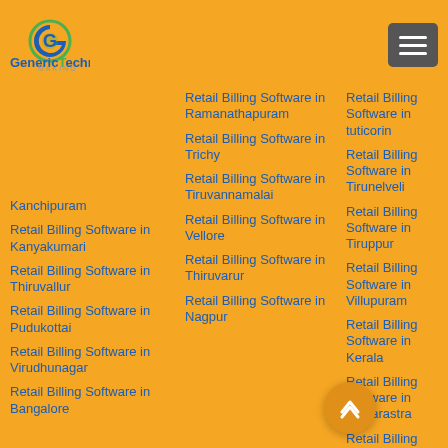[Figure (logo): Generic Technology logo with G icon and company name]
Kanchipuram Retail Billing Software in Kanyakumari
Retail Billing Software in Thiruvallur
Retail Billing Software in Pudukottai
Retail Billing Software in Virudhunagar
Retail Billing Software in Bangalore
Retail Billing Software in Ramanathapuram
Retail Billing Software in Trichy
Retail Billing Software in Tiruvannamalai
Retail Billing Software in Vellore
Retail Billing Software in Thiruvarur
Retail Billing Software in Nagpur
Retail Billing Software in tuticorin
Retail Billing Software in Tirunelveli
Retail Billing Software in Tiruppur
Retail Billing Software in Villupuram
Retail Billing Software in Kerala
Retail Billing Software in Maharastra
Retail Billing